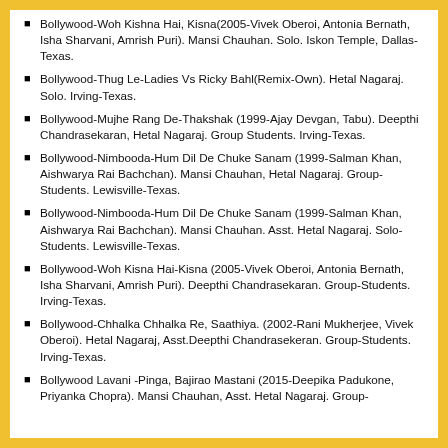Bollywood-Woh Kishna Hai, Kisna(2005-Vivek Oberoi, Antonia Bernath, Isha Sharvani, Amrish Puri). Mansi Chauhan. Solo. Iskon Temple, Dallas-Texas.
Bollywood-Thug Le-Ladies Vs Ricky Bahl(Remix-Own). Hetal Nagaraj. Solo. Irving-Texas.
Bollywood-Mujhe Rang De-Thakshak (1999-Ajay Devgan, Tabu). Deepthi Chandrasekaran, Hetal Nagaraj. Group Students. Irving-Texas.
Bollywood-Nimbooda-Hum Dil De Chuke Sanam (1999-Salman Khan, Aishwarya Rai Bachchan). Mansi Chauhan, Hetal Nagaraj. Group-Students. Lewisville-Texas.
Bollywood-Nimbooda-Hum Dil De Chuke Sanam (1999-Salman Khan, Aishwarya Rai Bachchan). Mansi Chauhan. Asst. Hetal Nagaraj. Solo-Students. Lewisville-Texas.
Bollywood-Woh Kisna Hai-Kisna (2005-Vivek Oberoi, Antonia Bernath, Isha Sharvani, Amrish Puri). Deepthi Chandrasekaran. Group-Students. Irving-Texas.
Bollywood-Chhalka Chhalka Re, Saathiya. (2002-Rani Mukherjee, Vivek Oberoi). Hetal Nagaraj, Asst.Deepthi Chandrasekeran. Group-Students. Irving-Texas.
Bollywood Lavani -Pinga, Bajirao Mastani (2015-Deepika Padukone, Priyanka Chopra). Mansi Chauhan, Asst. Hetal Nagaraj. Group-